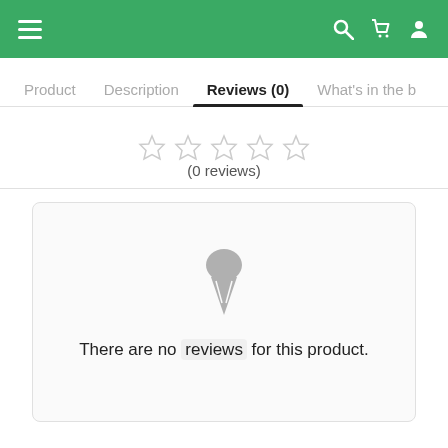Navigation bar with hamburger menu, search, cart, and user icons
Product | Description | Reviews (0) | What's in the b
[Figure (other): Five empty star rating icons]
(0 reviews)
[Figure (illustration): Grey ice cream cone icon indicating no reviews]
There are no reviews for this product.